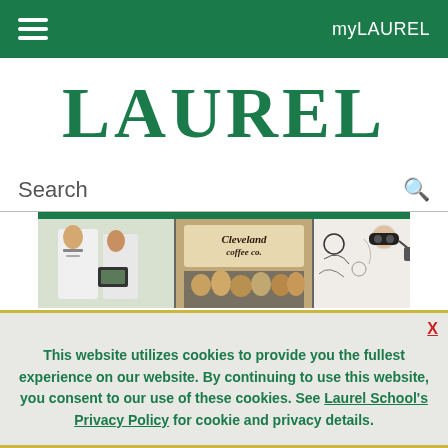myLAUREL
LAUREL
Search
[Figure (photo): Three-panel photo strip showing: (1) a student in a white coat with a doctor holding a tablet, (2) a group of students in front of a Cleveland Coffee Co. banner, (3) a student wearing a VR headset in front of illustrated artwork]
This website utilizes cookies to provide you the fullest experience on our website. By continuing to use this website, you consent to our use of these cookies. See Laurel School's Privacy Policy for cookie and privacy details.